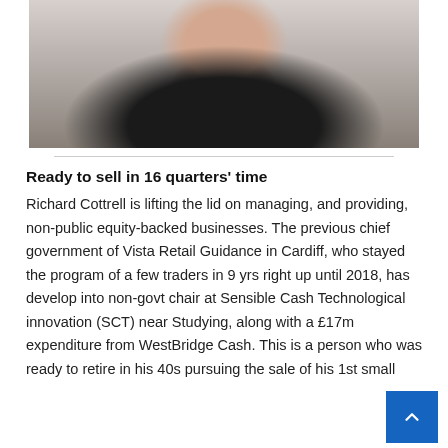[Figure (photo): Portrait photograph of a woman with shoulder-length dark hair wearing a black blazer over a patterned top, photographed against a light background.]
Ready to sell in 16 quarters' time
Richard Cottrell is lifting the lid on managing, and providing, non-public equity-backed businesses. The previous chief government of Vista Retail Guidance in Cardiff, who stayed the program of a few traders in 9 yrs right up until 2018, has develop into non-govt chair at Sensible Cash Technological innovation (SCT) near Studying, along with a £17m expenditure from WestBridge Cash. This is a person who was ready to retire in his 40s pursuing the sale of his 1st small